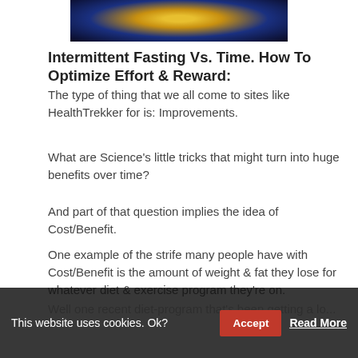[Figure (photo): Partial view of an ornate clock or compass face with gold and blue tones]
Intermittent Fasting Vs. Time. How To Optimize Effort & Reward:
The type of thing that we all come to sites like HealthTrekker for is: Improvements.
What are Science's little tricks that might turn into huge benefits over time?
And part of that question implies the idea of Cost/Benefit.
One example of the strife many people have with Cost/Benefit is the amount of weight & fat they lose for whatever diet & exercise program they're on.
Well one recent diet-program that's been getting a lo... Restricted Feeding.
This website uses cookies. Ok?